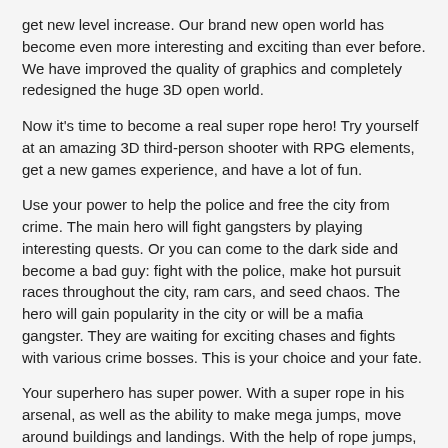get new level increase. Our brand new open world has become even more interesting and exciting than ever before. We have improved the quality of graphics and completely redesigned the huge 3D open world.
Now it's time to become a real super rope hero! Try yourself at an amazing 3D third-person shooter with RPG elements, get a new games experience, and have a lot of fun.
Use your power to help the police and free the city from crime. The main hero will fight gangsters by playing interesting quests. Or you can come to the dark side and become a bad guy: fight with the police, make hot pursuit races throughout the city, ram cars, and seed chaos. The hero will gain popularity in the city or will be a mafia gangster. They are waiting for exciting chases and fights with various crime bosses. This is your choice and your fate.
Your superhero has super power. With a super rope in his arsenal, as well as the ability to make mega jumps, move around buildings and landings. With the help of rope jumps, the hero is always aware of what is happening on the city streets.
At your superhero duty, you'll need a lot of stuff: guns & pistols,